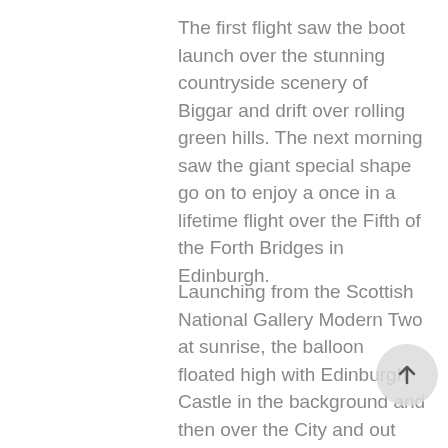The first flight saw the boot launch over the stunning countryside scenery of Biggar and drift over rolling green hills. The next morning saw the giant special shape go on to enjoy a once in a lifetime flight over the Fifth of the Forth Bridges in Edinburgh.
Launching from the Scottish National Gallery Modern Two at sunrise, the balloon floated high with Edinburgh Castle in the background and then over the City and out towards South Queensferry. Drifting slowly over the river,  this was the first hot air balloon to fly over all three bridges, since the new Queensferry Crossing opened last year.